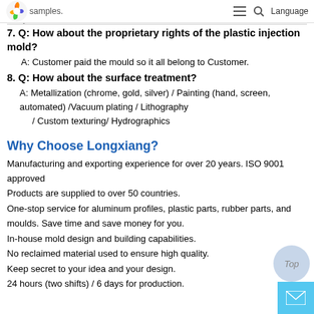samples. [navigation icons] Language
will modify the mold for free in our side and then make the new samples.
7. Q: How about the proprietary rights of the plastic injection mold?
A: Customer paid the mould so it all belong to Customer.
8. Q: How about the surface treatment?
A: Metallization (chrome, gold, silver) / Painting (hand, screen, automated) /Vacuum plating / Lithography / Custom texturing/ Hydrographics
Why Choose Longxiang?
Manufacturing and exporting experience for over 20 years. ISO 9001 approved
Products are supplied to over 50 countries.
One-stop service for aluminum profiles, plastic parts, rubber parts, and moulds. Save time and save money for you.
In-house mold design and building capabilities.
No reclaimed material used to ensure high quality.
Keep secret to your idea and your design.
24 hours (two shifts) / 6 days for production.